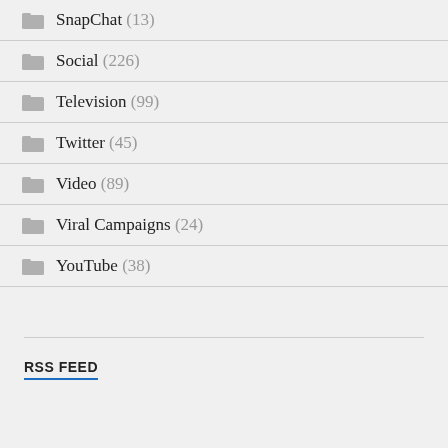SnapChat (13)
Social (226)
Television (99)
Twitter (45)
Video (89)
Viral Campaigns (24)
YouTube (38)
RSS FEED